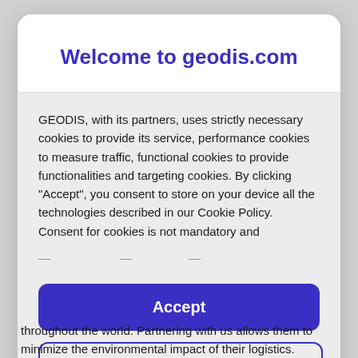Welcome to geodis.com
GEODIS, with its partners, uses strictly necessary cookies to provide its service, performance cookies to measure traffic, functional cookies to provide functionalities and targeting cookies. By clicking "Accept", you consent to store on your device all the technologies described in our Cookie Policy. Consent for cookies is not mandatory and
Accept
Manage
throughout the world. Partnering with us allows them to minimize the environmental impact of their logistics.